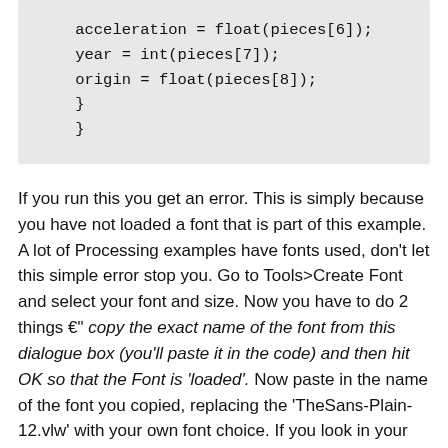acceleration = float(pieces[6]);
year = int(pieces[7]);
origin = float(pieces[8]);
}
}
If you run this you get an error. This is simply because you have not loaded a font that is part of this example. A lot of Processing examples have fonts used, don't let this simple error stop you. Go to Tools>Create Font and select your font and size. Now you have to do 2 things €" copy the exact name of the font from this dialogue box (you'll paste it in the code) and then hit OK so that the Font is 'loaded'. Now paste in the name of the font you copied, replacing the 'TheSans-Plain-12.vlw' with your own font choice. If you look in your sketch folder you'll see that a file with that name has been added to your